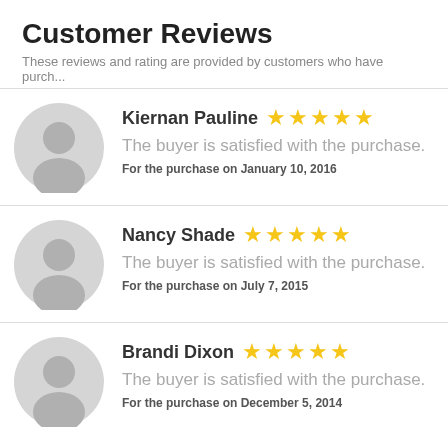Customer Reviews
These reviews and rating are provided by customers who have purch...
Kiernan Pauline ★★★★★
The buyer is satisfied with the purchase.
For the purchase on January 10, 2016
Nancy Shade ★★★★★
The buyer is satisfied with the purchase.
For the purchase on July 7, 2015
Brandi Dixon ★★★★★
The buyer is satisfied with the purchase.
For the purchase on December 5, 2014